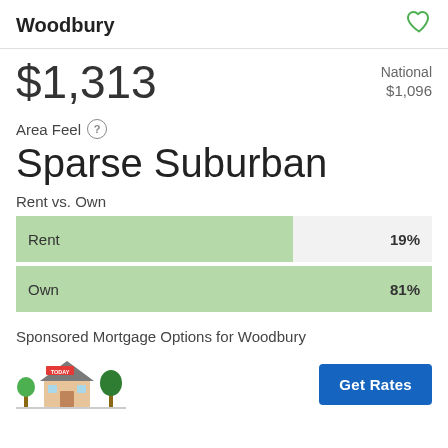Woodbury
$1,313
National $1,096
Area Feel
Sparse Suburban
Rent vs. Own
[Figure (bar-chart): Rent vs. Own]
Sponsored Mortgage Options for Woodbury
[Figure (illustration): House illustration with trees and a 'TODAY' banner]
Get Rates